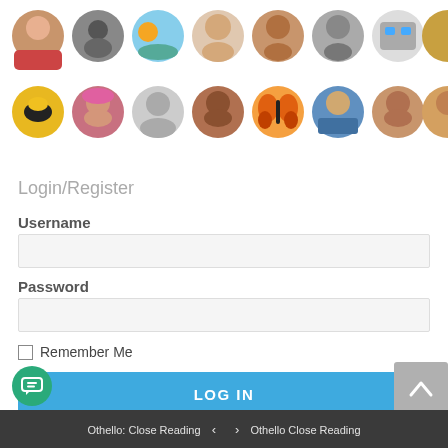[Figure (illustration): Two rows of circular user avatar photos/icons showing various people and animals, representing user profiles on an educational platform.]
Login/Register
Username
Password
Remember Me
LOG IN
Othello: Close Reading  <  >  Othello Close Reading